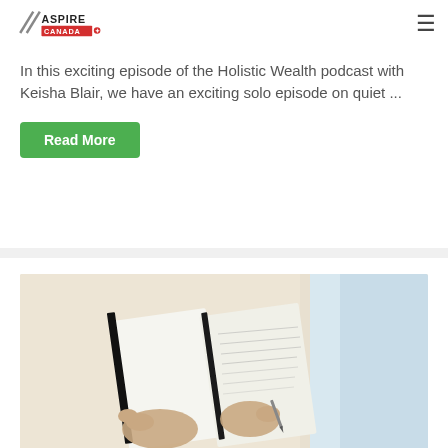Aspire Canada
In this exciting episode of the Holistic Wealth podcast with Keisha Blair, we have an exciting solo episode on quiet ...
Read More
[Figure (photo): Person lying down writing in an open notebook on a fluffy white rug, with light blue fabric visible on the right side.]